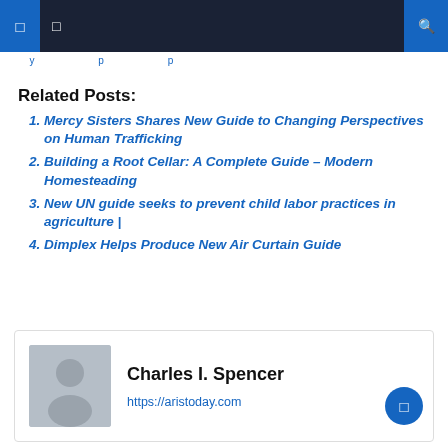Navigation bar with icons
Related Posts:
Mercy Sisters Shares New Guide to Changing Perspectives on Human Trafficking
Building a Root Cellar: A Complete Guide – Modern Homesteading
New UN guide seeks to prevent child labor practices in agriculture |
Dimplex Helps Produce New Air Curtain Guide
Charles I. Spencer
https://aristoday.com